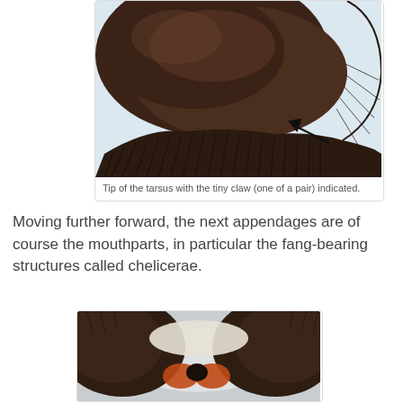[Figure (photo): Close-up photograph of the tip of a spider tarsus showing tiny claws, with a black arrow indicating one of the claws. The tarsus is covered in dark brown hairs.]
Tip of the tarsus with the tiny claw (one of a pair) indicated.
Moving further forward, the next appendages are of course the mouthparts, in particular the fang-bearing structures called chelicerae.
[Figure (photo): Close-up photograph of a spider's face/front showing the chelicerae (fang-bearing structures) with dark brown and white/cream coloring.]